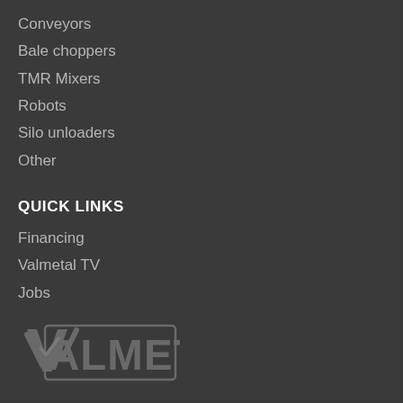Conveyors
Bale choppers
TMR Mixers
Robots
Silo unloaders
Other
QUICK LINKS
Financing
Valmetal TV
Jobs
[Figure (logo): Valmetal logo with stylized V checkmark and VALMETAL text in a rectangular outline, rendered in dark grey tones]
Canada
Saint-Germain-de-Grantham
(Québec) J0C 1K0 Canada